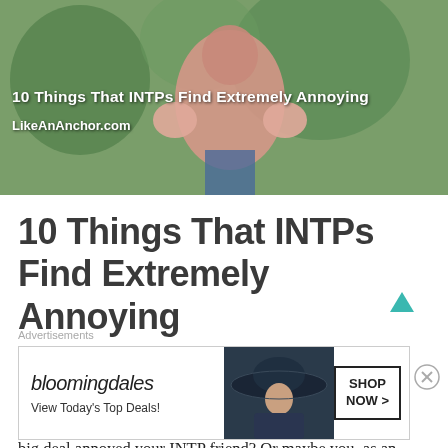[Figure (photo): Hero image of a person in a pink outfit outdoors among trees, with blog post title and site URL overlaid in white text]
10 Things That INTPs Find Extremely Annoying
11 February, 2020   Marissa
Have you ever noticed that something you thought wasn't a big deal annoyed your INTP friend? Or maybe you, as an INTP, have realized that you find certain things that d...
Advertisements
[Figure (screenshot): Bloomingdales advertisement banner: logo, 'View Today's Top Deals!' text, photo of woman in wide-brim hat, and 'SHOP NOW >' button]